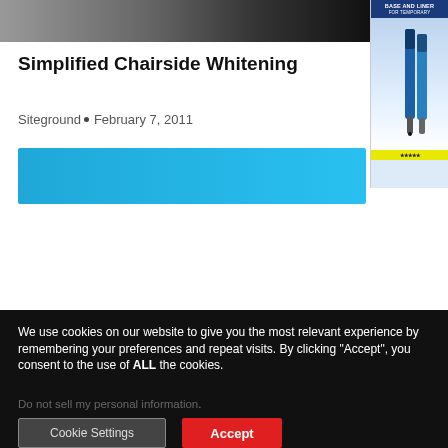[Figure (photo): Cropped photo strip showing dark background, partial dental procedure or person image]
[Figure (photo): Side advertisement image for pens/markers product with blue packaging, text 'BASE AND LINER']
Simplified Chairside Whitening
Siteground • February 7, 2011
[Figure (illustration): Blue banner/button element]
×
[Figure (logo): Glidewell Symposium 2022 logo with tooth graphic, red diagonal stripe, gray background element, and red year 2022]
We use cookies on our website to give you the most relevant experience by remembering your preferences and repeat visits. By clicking “Accept”, you consent to the use of ALL the cookies.
Do not sell my personal information.
Cookie Settings
Accept